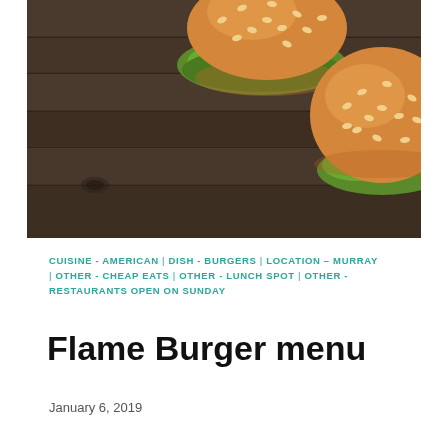[Figure (photo): Overhead photograph of two sesame-seed hamburger buns with green lettuce on a dark wooden plank background]
CUISINE - AMERICAN | DISH - BURGERS | LOCATION – MURRAY | OTHER - CHEAP EATS | OTHER - LUNCH SPOT | OTHER - RESTAURANTS OPEN ON SUNDAY
Flame Burger menu
January 6, 2019